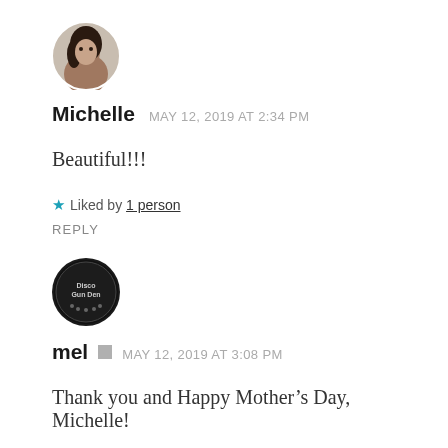[Figure (photo): Circular avatar photo of Michelle, a woman's profile picture]
Michelle   MAY 12, 2019 AT 2:34 PM
Beautiful!!!
★ Liked by 1 person
REPLY
[Figure (logo): Circular dark avatar/logo for user mel, with text 'Disco Gun Den']
mel  [edit icon]  MAY 12, 2019 AT 3:08 PM
Thank you and Happy Mother's Day, Michelle!